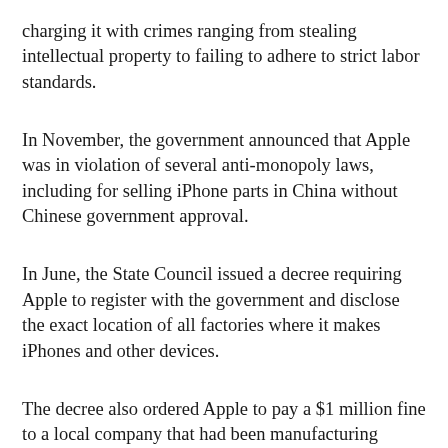charging it with crimes ranging from stealing intellectual property to failing to adhere to strict labor standards.
In November, the government announced that Apple was in violation of several anti-monopoly laws, including for selling iPhone parts in China without Chinese government approval.
In June, the State Council issued a decree requiring Apple to register with the government and disclose the exact location of all factories where it makes iPhones and other devices.
The decree also ordered Apple to pay a $1 million fine to a local company that had been manufacturing iPhones in Shenzhou for the past decade.
A month later, Apple released its first earnings report since the State Commission's order.
The report showed that Apple had added more than 100,000